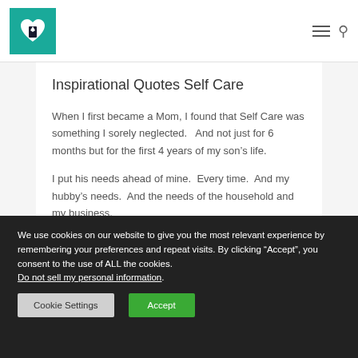Inspirational Quotes Self Care - navigation header with logo and menu icons
Inspirational Quotes Self Care
When I first became a Mom, I found that Self Care was something I sorely neglected.   And not just for 6 months but for the first 4 years of my son’s life.
I put his needs ahead of mine.  Every time.  And my hubby’s needs.  And the needs of the household and my business.
We use cookies on our website to give you the most relevant experience by remembering your preferences and repeat visits. By clicking “Accept”, you consent to the use of ALL the cookies.
Do not sell my personal information.